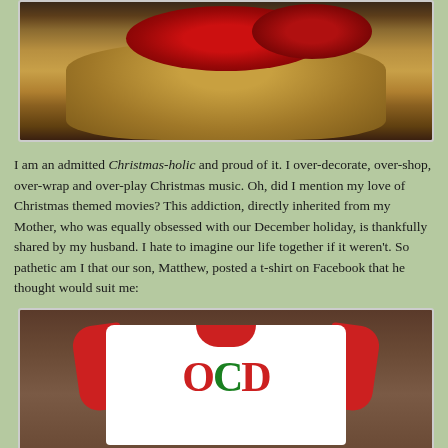[Figure (photo): A Christmas decoration display with red berries and flowers arranged on a round table with a gold/bronze tablecloth, in a store setting.]
I am an admitted Christmas-holic and proud of it. I over-decorate, over-shop, over-wrap and over-play Christmas music. Oh, did I mention my love of Christmas themed movies? This addiction, directly inherited from my Mother, who was equally obsessed with our December holiday, is thankfully shared by my husband. I hate to imagine our life together if it weren't. So pathetic am I that our son, Matthew, posted a t-shirt on Facebook that he thought would suit me:
[Figure (photo): A red and white baseball-style t-shirt with 'OCD' lettered on the front in large decorative font, with O and D in red and C in green, suggesting Obsessive Christmas Disorder.]